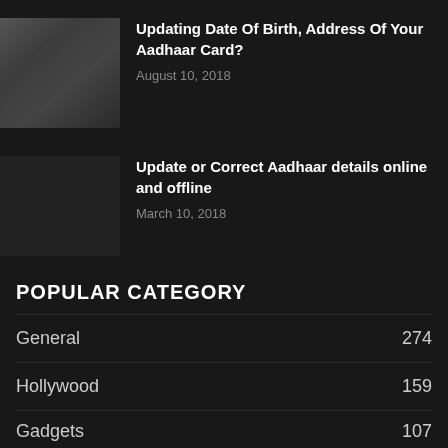[Figure (photo): Thumbnail image for article about Aadhaar Card date of birth update]
Updating Date Of Birth, Address Of Your Aadhaar Card?
August 10, 2018
[Figure (photo): Thumbnail image for article about updating Aadhaar details online and offline]
Update or Correct Aadhaar details online and offline
March 10, 2018
[Figure (photo): Thumbnail image for article about health benefits of garlic]
7 Surprising Health Benefits Of Garlic
May 7, 2018
POPULAR CATEGORY
General  274
Hollywood  159
Gadgets  107